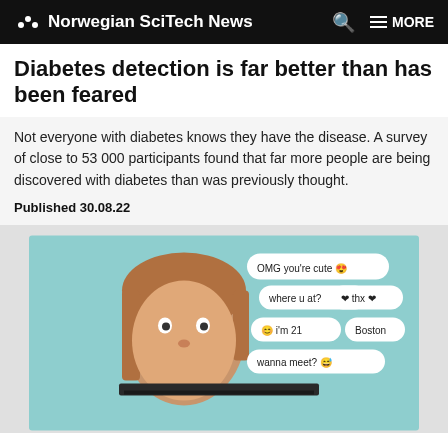Norwegian SciTech News   Q  MORE
Diabetes detection is far better than has been feared
Not everyone with diabetes knows they have the disease. A survey of close to 53 000 participants found that far more people are being discovered with diabetes than was previously thought.
Published 30.08.22
[Figure (photo): Illustration of a child's face peeking over a laptop screen, with chat message bubbles showing: 'OMG you're cute 😍', 'where u at?', '❤ thx ❤', 'I'm 21 😊', 'Boston', 'wanna meet? 😅' — appearing to illustrate online predator or grooming scenario, on a teal background.]